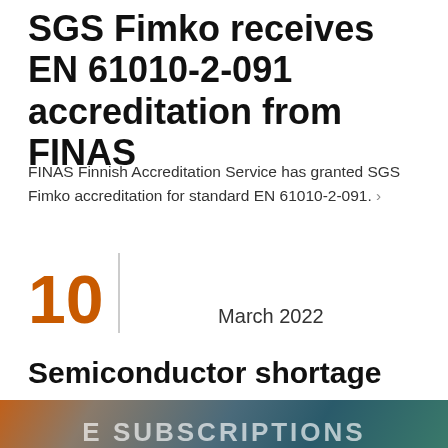SGS Fimko receives EN 61010-2-091 accreditation from FINAS
FINAS Finnish Accreditation Service has granted SGS Fimko accreditation for standard EN 61010-2-091. ›
10   March 2022
Semiconductor shortage
The use of an alternative component in the product may pose a safety risk ›
E SUBSCRIPTIONS